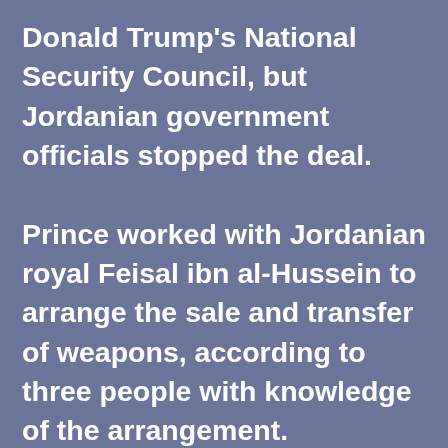Donald Trump's National Security Council, but Jordanian government officials stopped the deal. Prince worked with Jordanian royal Feisal ibn al-Hussein to arrange the sale and transfer of weapons, according to three people with knowledge of the arrangement.